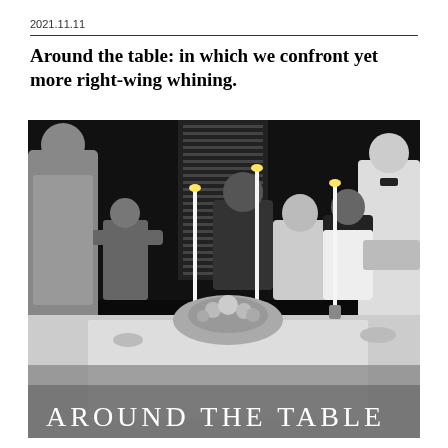2021.11.11
Around the table: in which we confront yet more right-wing whining.
[Figure (photo): Black and white stylized photo of a formal dinner party scene with people seated around a table with candles and floral centerpieces, a waiter standing, with large text 'AROUND THE TABLE' overlaid at the bottom.]